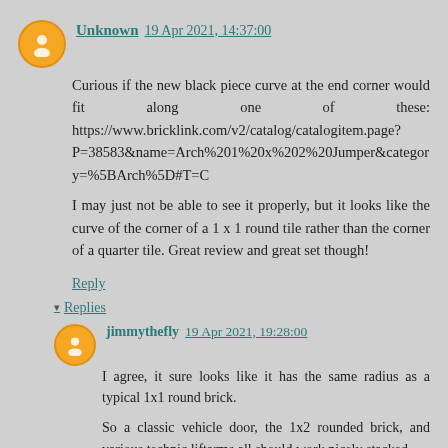Unknown  19 Apr 2021, 14:37:00
Curious if the new black piece curve at the end corner would fit along one of these: https://www.bricklink.com/v2/catalog/catalogitem.page?P=38583&name=Arch%201%20x%202%20Jumper&category=%5BArch%5D#T=C

I may just not be able to see it properly, but it looks like the curve of the corner of a 1 x 1 round tile rather than the corner of a quarter tile. Great review and great set though!
Reply
▾ Replies
jimmythefly  19 Apr 2021, 19:28:00
I agree, it sure looks like it has the same radius as a typical 1x1 round brick.

So a classic vehicle door, the 1x2 rounded brick, and various technic liftarms all should work nicely stacked